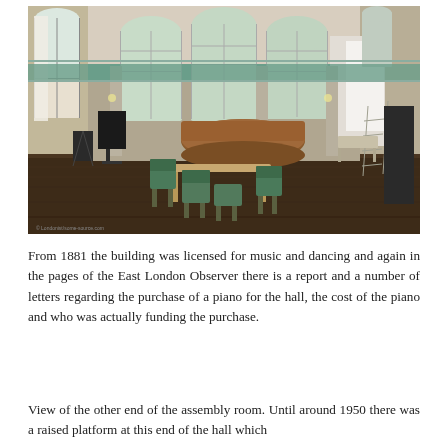[Figure (photo): Interior of a large assembly room hall with high arched windows, ornate ceiling with teal/green decorative border, dark hardwood floor, a circular wooden reception area in the background, a table with green chairs in the foreground, and various equipment/ladders along the walls. Small watermark text visible in bottom-left corner.]
From 1881 the building was licensed for music and dancing and again in the pages of the East London Observer there is a report and a number of letters regarding the purchase of a piano for the hall, the cost of the piano and who was actually funding the purchase.
View of the other end of the assembly room. Until around 1950 there was a raised platform at this end of the hall which